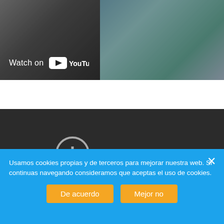[Figure (screenshot): YouTube video thumbnail showing 'Watch on YouTube' badge over a scene with people and architecture]
[Figure (screenshot): Embedded video player showing 'This video is unavailable' error message with exclamation icon]
Usamos cookies propias y de terceros para mejorar nuestra web. Si continuas navegando consideramos que aceptas el uso de cookies.
De acuerdo
Mejor no